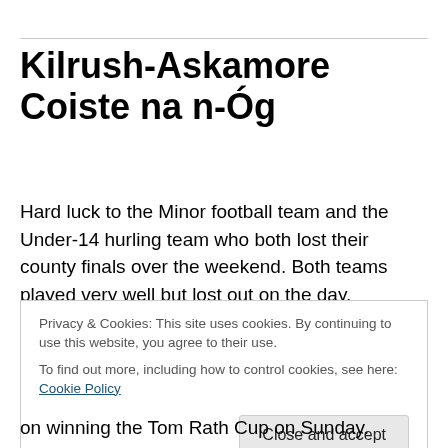Kilrush-Askamore Coiste na n-Óg
Hard luck to the Minor football team and the Under-14 hurling team who both lost their county finals over the weekend. Both teams played very well but lost out on the day.
Minor hurling semi-final is on Saturday 19th at 1 o'clock in
Privacy & Cookies: This site uses cookies. By continuing to use this website, you agree to their use.
To find out more, including how to control cookies, see here: Cookie Policy
on winning the Tom Rath Cup on Sunday.